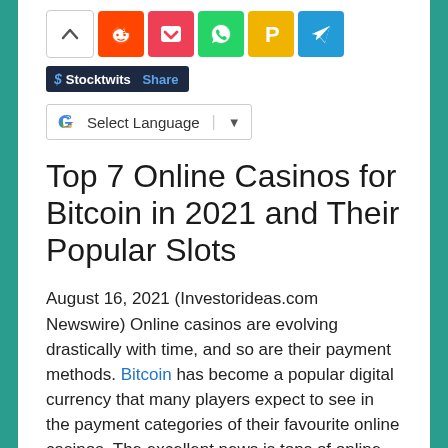[Figure (screenshot): Row of social share icons: chevron up (white), Reddit (orange), Pocket (red), WhatsApp (green), Parking/Pinterest (yellow), Telegram (blue)]
[Figure (screenshot): Stocktwits Share button (dark navy background, blue 'Share' text)]
[Figure (screenshot): Google Translate widget showing 'Select Language' dropdown]
Top 7 Online Casinos for Bitcoin in 2021 and Their Popular Slots
August 16, 2021 (Investorideas.com Newswire) Online casinos are evolving drastically with time, and so are their payment methods. Bitcoin has become a popular digital currency that many players expect to see in the payment categories of their favourite online casinos. The excellent news is tons of online casinos feature Bitcoin or other